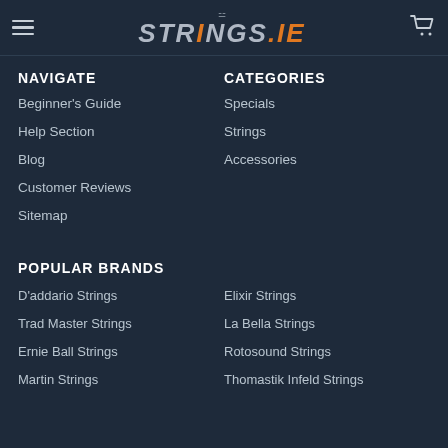STRINGS.ie — navigation header with hamburger menu and cart icon
NAVIGATE
CATEGORIES
Beginner's Guide
Specials
Help Section
Strings
Blog
Accessories
Customer Reviews
Sitemap
POPULAR BRANDS
D'addario Strings
Elixir Strings
Trad Master Strings
La Bella Strings
Ernie Ball Strings
Rotosound Strings
Martin Strings
Thomastik Infeld Strings